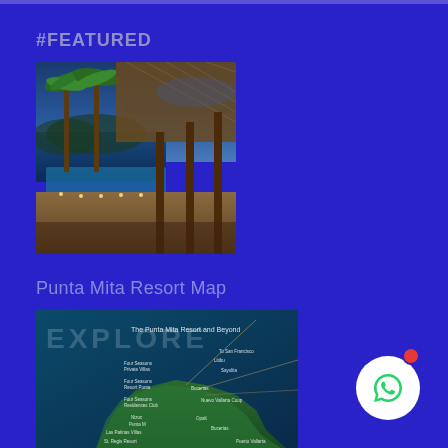#FEATURED
[Figure (photo): Luxury tropical resort with thatched roof pavilion, palm trees, infinity pool, and ocean view at dusk]
Punta Mita Resort Map
[Figure (map): Aerial satellite map of The Punta Mita Resort and Beyond showing resort locations including Four Seasons Private Villas, Four Seasons Resort Punta, Four Seasons Residences Club, Nizuc, St. Regis Resort, and other landmarks. Text reads EXPLORE in large letters.]